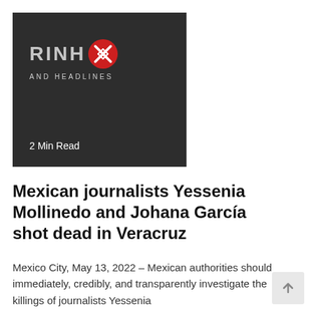[Figure (logo): Dark gray card with RINHO logo text, a red X-pattern circle icon, 'AND HEADLINES' subtitle text, and '2 Min Read' label at the bottom]
Mexican journalists Yessenia Mollinedo and Johana García shot dead in Veracruz
Mexico City, May 13, 2022 – Mexican authorities should immediately, credibly, and transparently investigate the killings of journalists Yessenia